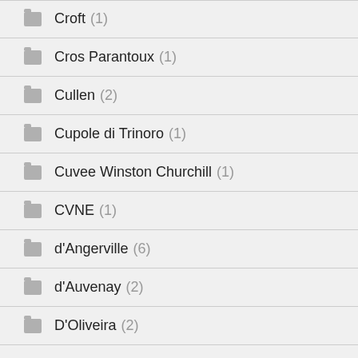Croft (1)
Cros Parantoux (1)
Cullen (2)
Cupole di Trinoro (1)
Cuvee Winston Churchill (1)
CVNE (1)
d'Angerville (6)
d'Auvenay (2)
D'Oliveira (2)